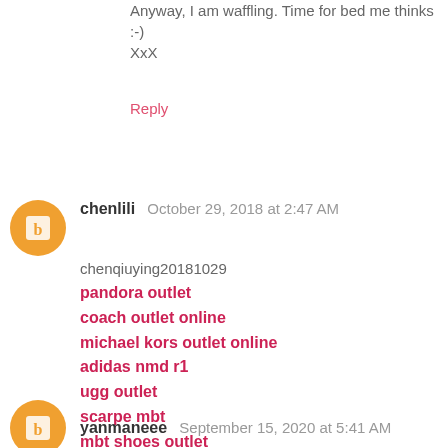Anyway, I am waffling. Time for bed me thinks :-)
XxX
Reply
chenlili  October 29, 2018 at 2:47 AM
chenqiuying20181029
pandora outlet
coach outlet online
michael kors outlet online
adidas nmd r1
ugg outlet
scarpe mbt
mbt shoes outlet
canada goose outlet store
christian louboutin shoes
michael kors outlet online
Reply
yanmaneee  September 15, 2020 at 5:41 AM